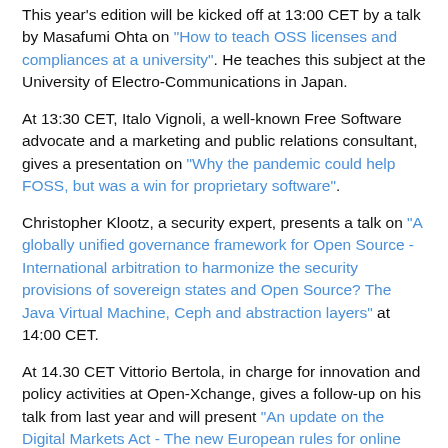This year's edition will be kicked off at 13:00 CET by a talk by Masafumi Ohta on "How to teach OSS licenses and compliances at a university". He teaches this subject at the University of Electro-Communications in Japan.
At 13:30 CET, Italo Vignoli, a well-known Free Software advocate and a marketing and public relations consultant, gives a presentation on "Why the pandemic could help FOSS, but was a win for proprietary software".
Christopher Klootz, a security expert, presents a talk on "A globally unified governance framework for Open Source - International arbitration to harmonize the security provisions of sovereign states and Open Source? The Java Virtual Machine, Ceph and abstraction layers" at 14:00 CET.
At 14.30 CET Vittorio Bertola, in charge for innovation and policy activities at Open-Xchange, gives a follow-up on his talk from last year and will present "An update on the Digital Markets Act - The new European rules for online competition".